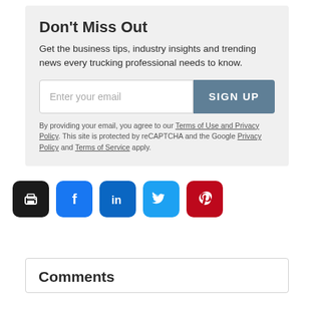Don’t Miss Out
Get the business tips, industry insights and trending news every trucking professional needs to know.
By providing your email, you agree to our Terms of Use and Privacy Policy. This site is protected by reCAPTCHA and the Google Privacy Policy and Terms of Service apply.
[Figure (infographic): Social share buttons: print (black), Facebook (blue), LinkedIn (dark blue), Twitter (light blue), Pinterest (red)]
Comments